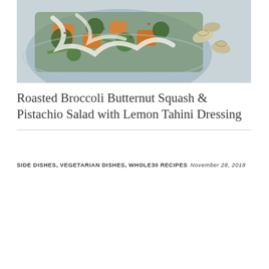[Figure (photo): Overhead photo of a roasted broccoli and butternut squash salad on a plate, drizzled with white tahini dressing, with pistachios visible on the side on a light blue surface.]
Roasted Broccoli Butternut Squash & Pistachio Salad with Lemon Tahini Dressing
SIDE DISHES, VEGETARIAN DISHES, WHOLE30 RECIPES   November 28, 2018